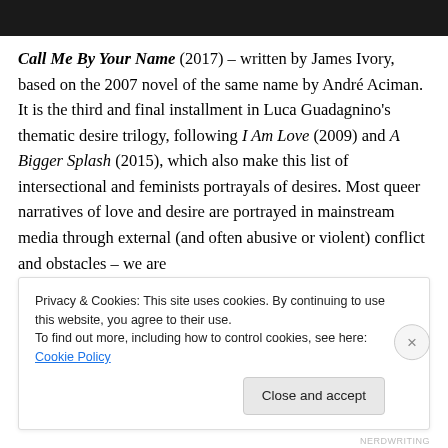[Figure (photo): Dark cropped photo at the top of the page]
Call Me By Your Name (2017) – written by James Ivory, based on the 2007 novel of the same name by André Aciman. It is the third and final installment in Luca Guadagnino's thematic desire trilogy, following I Am Love (2009) and A Bigger Splash (2015), which also make this list of intersectional and feminists portrayals of desires. Most queer narratives of love and desire are portrayed in mainstream media through external (and often abusive or violent) conflict and obstacles – we are
Privacy & Cookies: This site uses cookies. By continuing to use this website, you agree to their use.
To find out more, including how to control cookies, see here: Cookie Policy
Close and accept